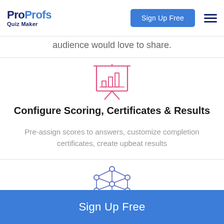ProProfs Quiz Maker — Sign Up Free
audience would love to share.
[Figure (illustration): Pink/red outline icon of a presentation board with a bar chart showing ascending bars]
Configure Scoring, Certificates & Results
Pre-assign scores to answers, customize completion certificates, create upbeat results
[Figure (illustration): Purple/blue outline icon of a network graph with nodes and connecting lines in a geometric pattern]
Sign Up Free